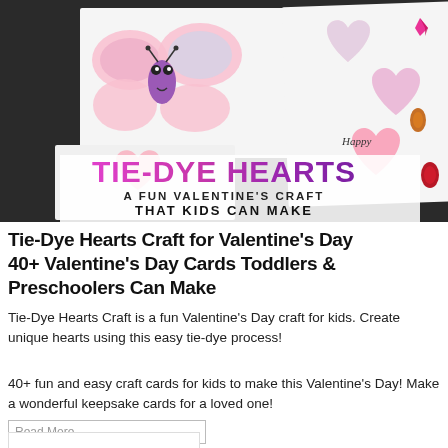[Figure (photo): Photo of handmade butterfly/heart Valentine's Day cards on a dark surface, with colorful tie-dye heart shapes. Text overlay reads 'TIE-DYE HEARTS' in pink/purple gradient bold letters, and below: 'A FUN VALENTINE'S CRAFT THAT KIDS CAN MAKE' in dark letters.]
Tie-Dye Hearts Craft for Valentine's Day
40+ Valentine's Day Cards Toddlers & Preschoolers Can Make
Tie-Dye Hearts Craft is a fun Valentine's Day craft for kids. Create unique hearts using this easy tie-dye process!
40+ fun and easy craft cards for kids to make this Valentine's Day! Make a wonderful keepsake cards for a loved one!